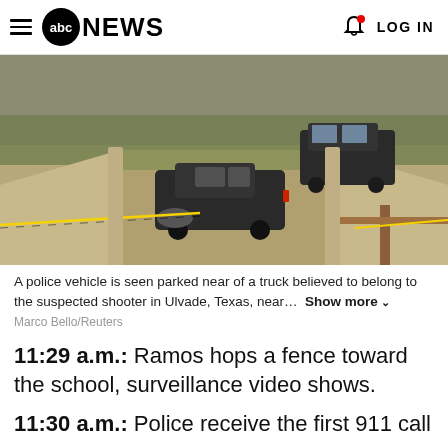abc NEWS  LOG IN
[Figure (photo): Outdoor scene showing a dark pickup truck crashed or parked in a ditch/drainage channel with yellow crime scene tape. A police SUV is parked on dry ground in the background. The area has sparse grass and sandy soil.]
A police vehicle is seen parked near of a truck believed to belong to the suspected shooter in Ulvade, Texas, near... Show more
Marco Bello/Reuters
11:29 a.m.: Ramos hops a fence toward the school, surveillance video shows.
11:30 a.m.: Police receive the first 911 call